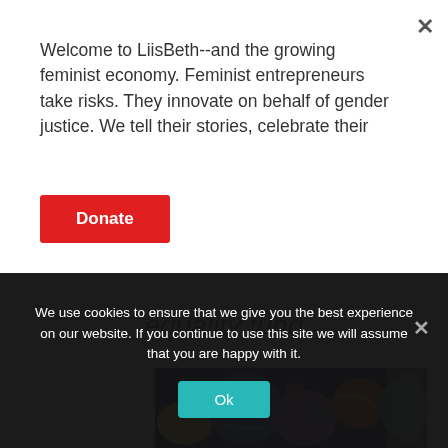Welcome to LiisBeth--and the growing feminist economy. Feminist entrepreneurs take risks. They innovate on behalf of gender justice. We tell their stories, celebrate their
Donate
equality fund
[Figure (photo): Colorful abstract art painting with blues, pinks, yellows and oranges, resembling cubist figures]
We use cookies to ensure that we give you the best experience on our website. If you continue to use this site we will assume that you are happy with it.
Ok